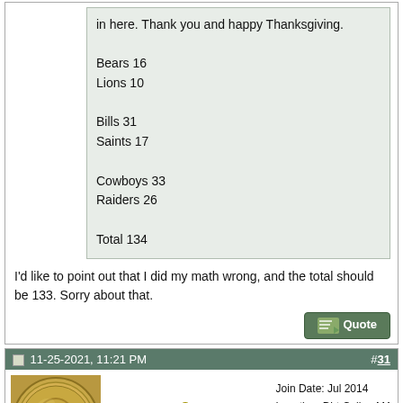in here. Thank you and happy Thanksgiving.

Bears 16
Lions 10

Bills 31
Saints 17

Cowboys 33
Raiders 26

Total 134
I'd like to point out that I did my math wrong, and the total should be 133. Sorry about that.
11-25-2021, 11:21 PM
#31
[Figure (photo): Avatar image of an old coin (likely a US cent or dollar coin) with visible text '1882' and wreath design]
cellrdwellr
Elite Member

Join Date: Jul 2014
Location: Dirt Cellar, MA
Posts: 17,685